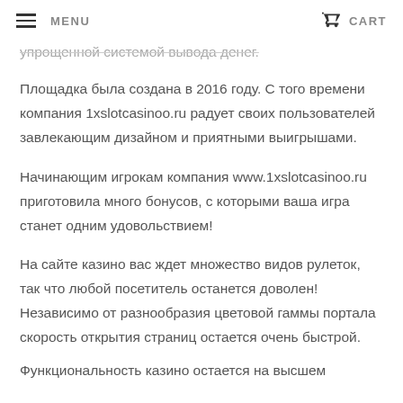MENU | CART
упрощенной системой вывода денег.
Площадка была создана в 2016 году. С того времени компания 1xslotcasinoo.ru радует своих пользователей завлекающим дизайном и приятными выигрышами.
Начинающим игрокам компания www.1xslotcasinoo.ru приготовила много бонусов, с которыми ваша игра станет одним удовольствием!
На сайте казино вас ждет множество видов рулеток, так что любой посетитель останется доволен! Независимо от разнообразия цветовой гаммы портала скорость открытия страниц остается очень быстрой.
Функциональность казино остается на высшем